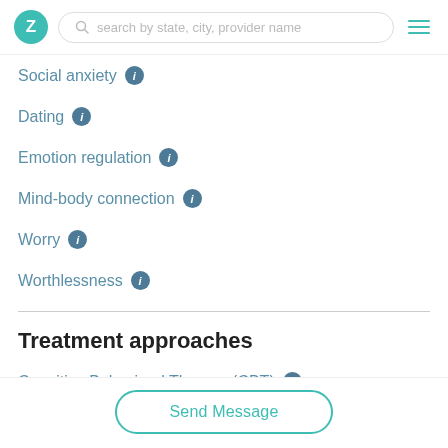search by state, city, provider name
Social anxiety
Dating
Emotion regulation
Mind-body connection
Worry
Worthlessness
Treatment approaches
Cognitive Behavioral Therapy (CBT)